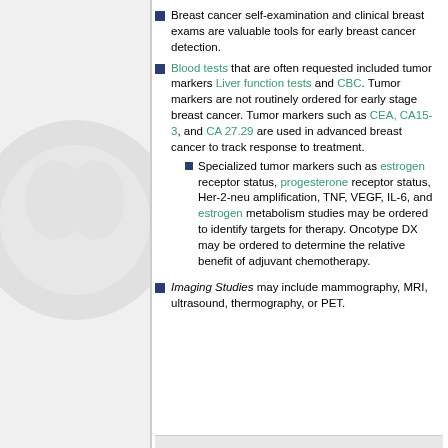Breast cancer self-examination and clinical breast exams are valuable tools for early breast cancer detection.
Blood tests that are often requested included tumor markers Liver function tests and CBC. Tumor markers are not routinely ordered for early stage breast cancer. Tumor markers such as CEA, CA15-3, and CA 27.29 are used in advanced breast cancer to track response to treatment.
Specialized tumor markers such as estrogen receptor status, progesterone receptor status, Her-2-neu amplification, TNF, VEGF, IL-6, and estrogen metabolism studies may be ordered to identify targets for therapy. Oncotype DX may be ordered to determine the relative benefit of adjuvant chemotherapy.
Imaging Studies may include mammography, MRI, ultrasound, thermography, or PET.